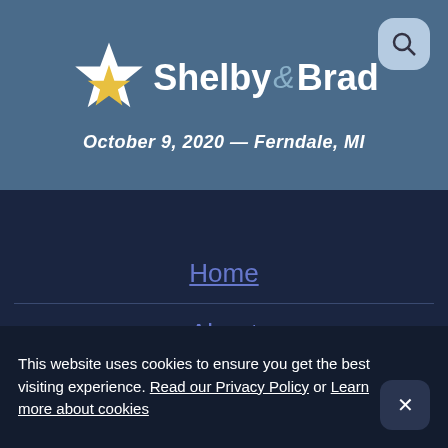[Figure (logo): Shelby & Brad wedding website logo with white star icon and text]
October 9, 2020 — Ferndale, MI
Home
About
This website uses cookies to ensure you get the best visiting experience. Read our Privacy Policy or Learn more about cookies